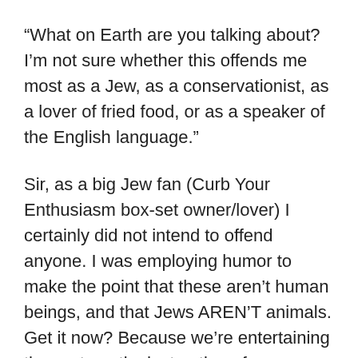“What on Earth are you talking about? I’m not sure whether this offends me most as a Jew, as a conservationist, as a lover of fried food, or as a speaker of the English language.”
Sir, as a big Jew fan (Curb Your Enthusiasm box-set owner/lover) I certainly did not intend to offend anyone. I was employing humor to make the point that these aren’t human beings, and that Jews AREN’T animals. Get it now? Because we’re entertaining the systematic destruction of one animal for the sake of another (and given the controversy surrounding the suggestion), I felt (however thoughtlessly) that I was illustrating an